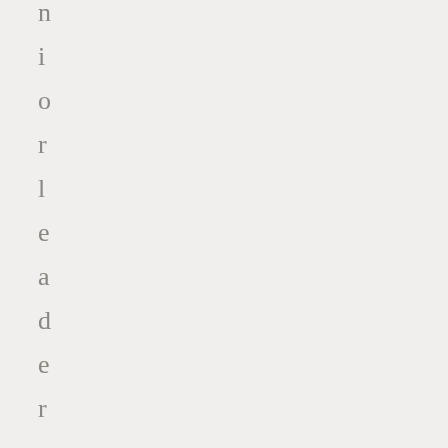n i o r l e a d e r s h i p t e a m